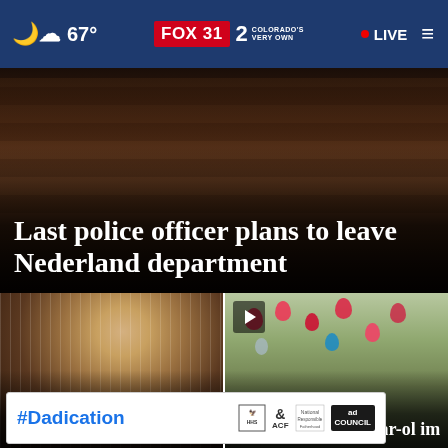67° FOX 31 2 COLORADO'S VERY OWN • LIVE
[Figure (photo): Dark interior scene with bookshelves, hero image for Nederland police story]
Last police officer plans to leave Nederland department
[Figure (photo): Colorado Rockies player #4 in white pinstripe jersey waving, with text overlay: Sac fly the difference in 9-8 Gs over...]
[Figure (photo): Red and pink heart balloons floating in trees, with play button icon, and text overlay: Vigil held for 13-year-old...]
[Figure (other): #Dadication advertisement banner with HHS, ACF, and Ad Council logos]